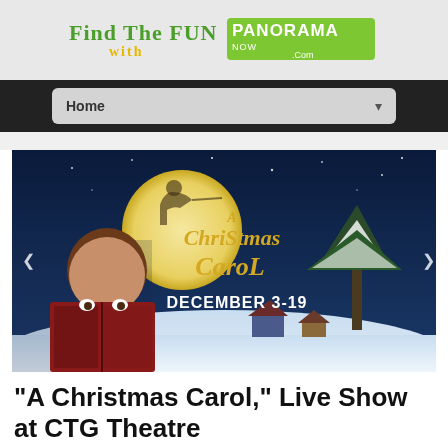[Figure (logo): Find The FUN with Panorama Now logo — stylized green handwritten text 'Find The FUN with' next to green PANORAMA logo block]
[Figure (screenshot): Navigation bar with 'Home' menu item on dark background]
[Figure (photo): A Christmas Carol theatrical poster showing a child reading a book, a silhouette on a full moon, snowy village scene, gold decorative text 'A Christmas Carol' and 'DECEMBER 3-19' on dark blue background]
“A Christmas Carol,” Live Show at CTG Theatre